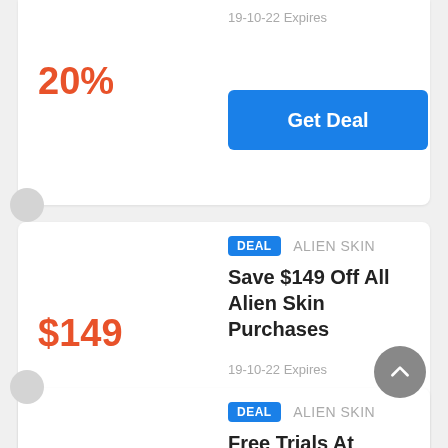20%
19-10-22 Expires
Get Deal
DEAL  ALIEN SKIN
Save $149 Off All Alien Skin Purchases
$149
19-10-22 Expires
Get Deal
DEAL  ALIEN SKIN
Free Trials At Exposure Software
Sales
19-10-22 Expires